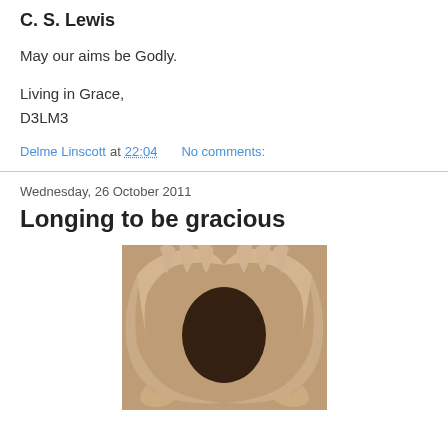C. S. Lewis
May our aims be Godly.
Living in Grace,
D3LM3
Delme Linscott at 22:04    No comments:
Wednesday, 26 October 2011
Longing to be gracious
[Figure (photo): Sepia-toned photograph of two hands forming a heart shape, with fingertips touching to create a heart outline.]